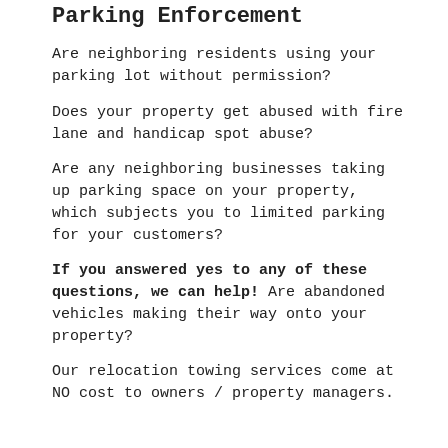Parking Enforcement
Are neighboring residents using your parking lot without permission?
Does your property get abused with fire lane and handicap spot abuse?
Are any neighboring businesses taking up parking space on your property, which subjects you to limited parking for your customers?
If you answered yes to any of these questions, we can help! Are abandoned vehicles making their way onto your property?
Our relocation towing services come at NO cost to owners / property managers.